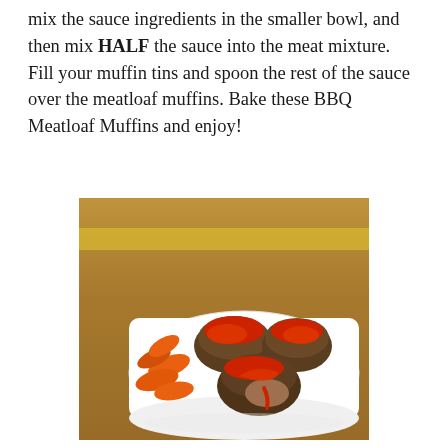mix the sauce ingredients in the smaller bowl, and then mix HALF the sauce into the meat mixture. Fill your muffin tins and spoon the rest of the sauce over the meatloaf muffins. Bake these BBQ Meatloaf Muffins and enjoy!
[Figure (photo): A white plate with BBQ meatloaf muffins topped with red sauce, served alongside baby carrots, on a wooden table background.]